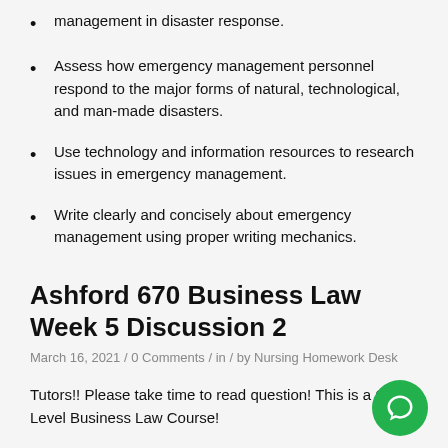management in disaster response.
Assess how emergency management personnel respond to the major forms of natural, technological, and man-made disasters.
Use technology and information resources to research issues in emergency management.
Write clearly and concisely about emergency management using proper writing mechanics.
Ashford 670 Business Law Week 5 Discussion 2
March 16, 2021 / 0 Comments / in / by Nursing Homework Desk
Tutors!! Please take time to read question! This is a Gra... Level Business Law Course!